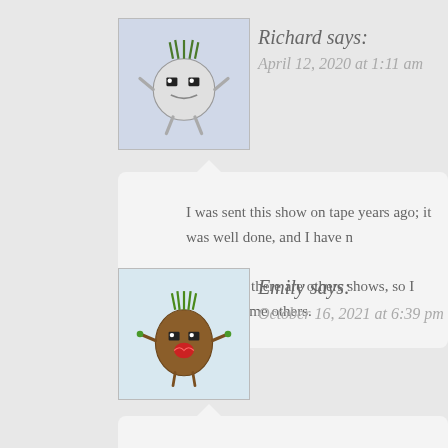Richard says:
April 12, 2020 at 1:11 am
I was sent this show on tape years ago; it was well done, and I have now found that there are others shows, so I may try some others.
Emily says:
October 16, 2021 at 6:39 pm
I looooved these as a kid! I ran across my old tape collection, and was wait to listen again. So creepy!!!